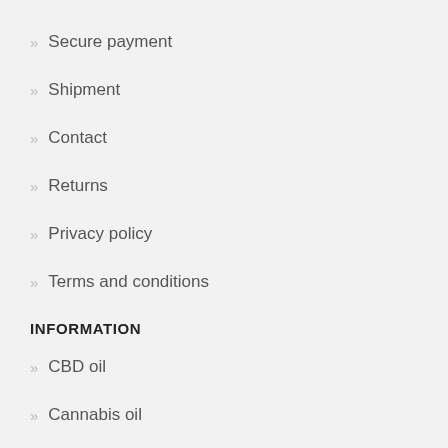Secure payment
Shipment
Contact
Returns
Privacy policy
Terms and conditions
INFORMATION
CBD oil
Cannabis oil
CBG oil